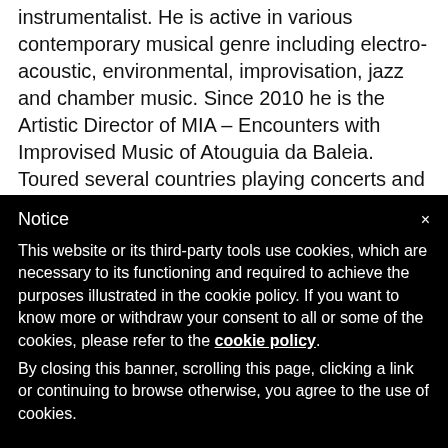Paulo Chagas is a composer, teacher and multi-instrumentalist. He is active in various contemporary musical genre including electro-acoustic, environmental, improvisation, jazz and chamber music. Since 2010 he is the Artistic Director of MIA – Encounters with Improvised Music of Atouguia da Baleia. Toured several countries playing concerts and festivals and conducting workshops on composition
Notice
This website or its third-party tools use cookies, which are necessary to its functioning and required to achieve the purposes illustrated in the cookie policy. If you want to know more or withdraw your consent to all or some of the cookies, please refer to the cookie policy. By closing this banner, scrolling this page, clicking a link or continuing to browse otherwise, you agree to the use of cookies.